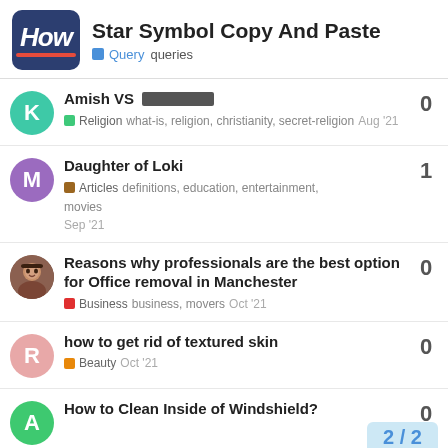Star Symbol Copy And Paste — Query queries
Amish VS ██████ | Religion | what-is, religion, christianity, secret-religion | Aug '21 | 0
Daughter of Loki | Articles | definitions, education, entertainment, movies | Sep '21 | 1
Reasons why professionals are the best option for Office removal in Manchester | Business | business, movers | Oct '21 | 0
how to get rid of textured skin | Beauty | Oct '21 | 0
How to Clean Inside of Windshield? | 0
2 / 2